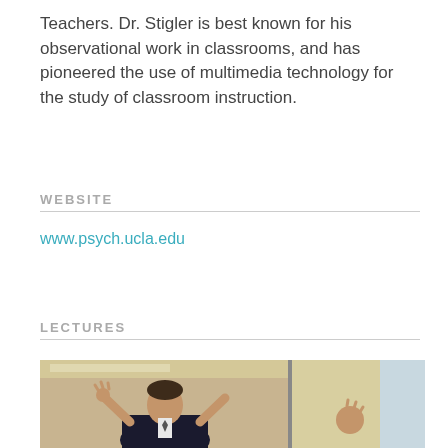Teachers. Dr. Stigler is best known for his observational work in classrooms, and has pioneered the use of multimedia technology for the study of classroom instruction.
WEBSITE
www.psych.ucla.edu
LECTURES
[Figure (photo): A man in a dark suit gesturing with both hands raised, appearing to be giving a lecture. The background shows a classroom or lecture hall setting with beige/cream colored walls.]